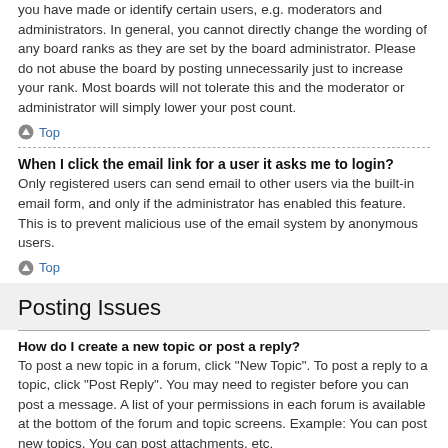you have made or identify certain users, e.g. moderators and administrators. In general, you cannot directly change the wording of any board ranks as they are set by the board administrator. Please do not abuse the board by posting unnecessarily just to increase your rank. Most boards will not tolerate this and the moderator or administrator will simply lower your post count.
Top
When I click the email link for a user it asks me to login?
Only registered users can send email to other users via the built-in email form, and only if the administrator has enabled this feature. This is to prevent malicious use of the email system by anonymous users.
Top
Posting Issues
How do I create a new topic or post a reply?
To post a new topic in a forum, click "New Topic". To post a reply to a topic, click "Post Reply". You may need to register before you can post a message. A list of your permissions in each forum is available at the bottom of the forum and topic screens. Example: You can post new topics, You can post attachments, etc.